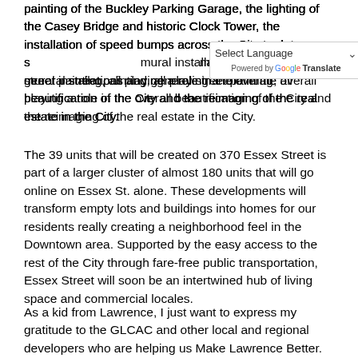painting of the Buckley Parking Garage, the lighting of the Casey Bridge and historic Clock Tower, the installation of speed bumps across the City to deter speeding, along with mural installations and general street painting, all playing a role in the overall beautification of the City and the reimaging of the real estate in the City.
The 39 units that will be created on 370 Essex Street is part of a larger cluster of almost 180 units that will go online on Essex St. alone. These developments will transform empty lots and buildings into homes for our residents really creating a neighborhood feel in the Downtown area. Supported by the easy access to the rest of the City through fare-free public transportation, Essex Street will soon be an intertwined hub of living space and commercial locales.
As a kid from Lawrence, I just want to express my gratitude to the GLCAC and other local and regional developers who are helping us Make Lawrence Better. Growing up in